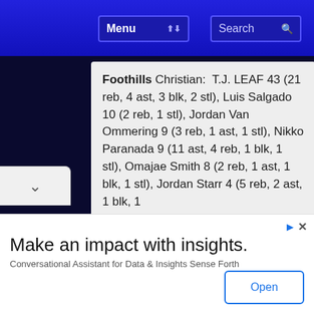Menu | Search
Foothills Christian:  T.J. LEAF 43 (21 reb, 4 ast, 3 blk, 2 stl), Luis Salgado 10 (2 reb, 1 stl), Jordan Van Ommering 9 (3 reb, 1 ast, 1 stl), Nikko Paranada 9 (11 ast, 4 reb, 1 blk, 1 stl), Omajae Smith 8 (2 reb, 1 ast, 1 blk, 1 stl), Jordan Starr 4 (5 reb, 2 ast, 1 blk, 1
Make an impact with insights.
Conversational Assistant for Data & Insights Sense Forth